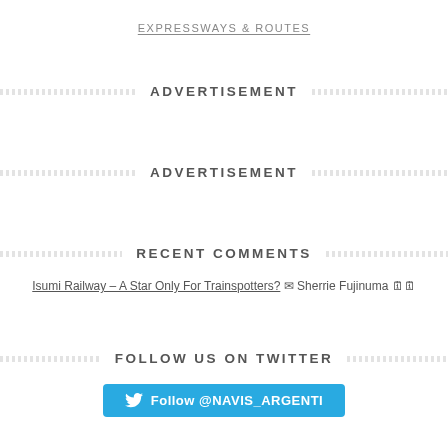EXPRESSWAYS & ROUTES
ADVERTISEMENT
ADVERTISEMENT
RECENT COMMENTS
Isumi Railway – A Star Only For Trainspotters? ✉ Sherrie Fujinuma 🗓🗓
FOLLOW US ON TWITTER
Follow @NAVIS_ARGENTI